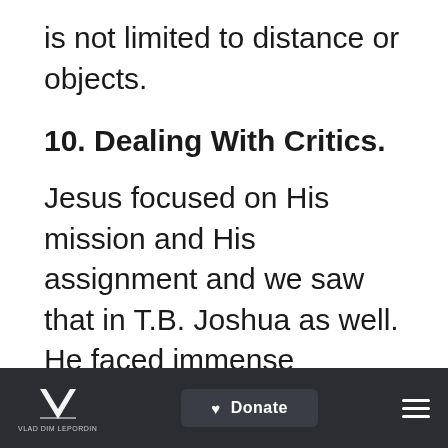is not limited to distance or objects.
10. Dealing With Critics.
Jesus focused on His mission and His assignment and we saw that in T.B. Joshua as well. He faced immense criticism, but never let it faze him. If you’re a ministry-creating
Donate